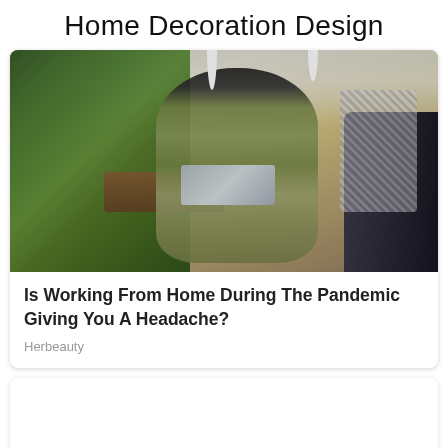Home Decoration Design
[Figure (photo): Woman wearing a leopard-print face mask sitting on a dark blue sofa in a plant-filled cafe/lobby interior, working on a laptop. Surrounded by lush tropical plants on the left, warm interior decor in the background, and a patterned chair visible on the right.]
Is Working From Home During The Pandemic Giving You A Headache?
Herbeauty